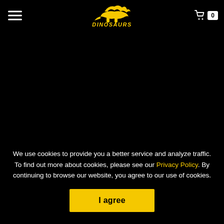DINOSAURS — navigation header with hamburger menu, logo, and cart (0)
Source by: ArtStation
We use cookies to provide you a better service and analyze traffic. To find out more about cookies, please see our Privacy Policy. By continuing to browse our website, you agree to our use of cookies.
I agree